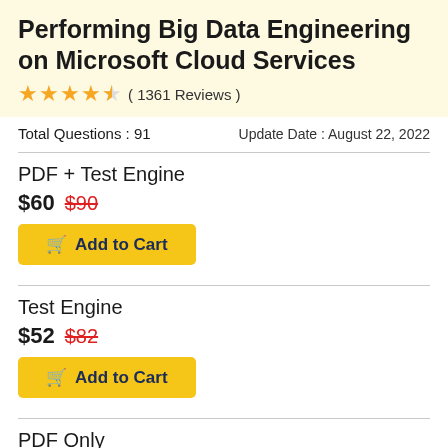Performing Big Data Engineering on Microsoft Cloud Services
★★★★½ ( 1361 Reviews )
Total Questions : 91
Update Date : August 22, 2022
PDF + Test Engine
$60 $90
Add to Cart
Test Engine
$52 $82
Add to Cart
PDF Only